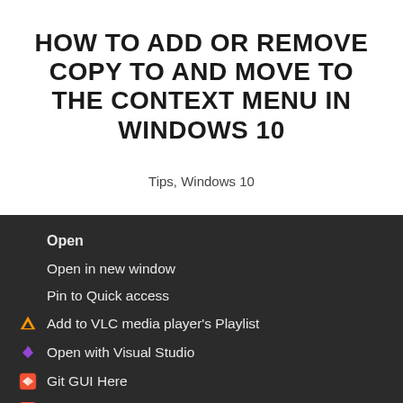HOW TO ADD OR REMOVE COPY TO AND MOVE TO THE CONTEXT MENU IN WINDOWS 10
Tips, Windows 10
[Figure (screenshot): Windows 10 dark context menu showing options: Open (bold), Open in new window, Pin to Quick access, Add to VLC media player's Playlist (VLC icon), Open with Visual Studio (VS icon), Git GUI Here (Git icon), Git Bash Here (Git icon), Play with VLC media player (VLC icon), Open Folder as PyCharm Community Edition Project (PyCharm icon)]